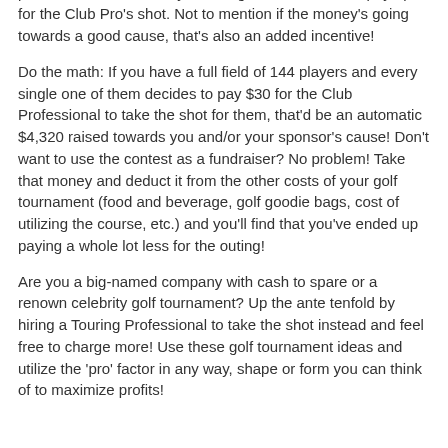and be worth the $X for the advantage. Furthermore, if they see that the other teams are utilizing the Club Pro, the pressure will be on, likely resulting in the decision to pay up for the Club Pro's shot. Not to mention if the money's going towards a good cause, that's also an added incentive!
Do the math: If you have a full field of 144 players and every single one of them decides to pay $30 for the Club Professional to take the shot for them, that'd be an automatic $4,320 raised towards you and/or your sponsor's cause! Don't want to use the contest as a fundraiser? No problem! Take that money and deduct it from the other costs of your golf tournament (food and beverage, golf goodie bags, cost of utilizing the course, etc.) and you'll find that you've ended up paying a whole lot less for the outing!
Are you a big-named company with cash to spare or a renown celebrity golf tournament? Up the ante tenfold by hiring a Touring Professional to take the shot instead and feel free to charge more! Use these golf tournament ideas and utilize the 'pro' factor in any way, shape or form you can think of to maximize profits!